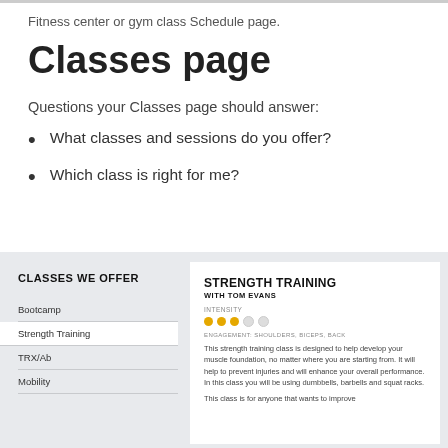Fitness center or gym class Schedule page.
Classes page
Questions your Classes page should answer:
What classes and sessions do you offer?
Which class is right for me?
[Figure (screenshot): Screenshot of a gym class scheduling website showing a 'Classes We Offer' left panel with items: Bootcamp, Strength Training, TRX/Ab, Mobility; and a right panel showing 'Strength Training with Tom Evans' detail including intensity dots, engagement labels (shoulders, biceps, back), and class description text.]